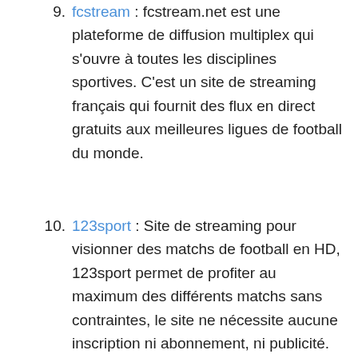9. fcstream : fcstream.net est une plateforme de diffusion multiplex qui s'ouvre à toutes les disciplines sportives. C'est un site de streaming français qui fournit des flux en direct gratuits aux meilleures ligues de football du monde.
10. 123sport : Site de streaming pour visionner des matchs de football en HD, 123sport permet de profiter au maximum des différents matchs sans contraintes, le site ne nécessite aucune inscription ni abonnement, ni publicité.
11. vipleague : VIPleague est l'un des meilleurs...